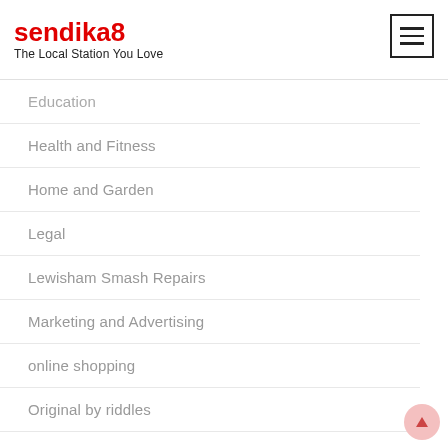sendika8 — The Local Station You Love
Education
Health and Fitness
Home and Garden
Legal
Lewisham Smash Repairs
Marketing and Advertising
online shopping
Original by riddles
Pets
Pistol Case